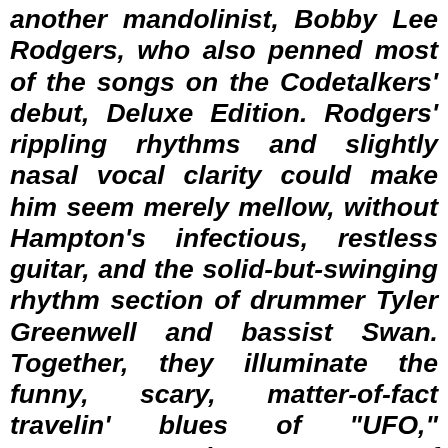another mandolinist, Bobby Lee Rodgers, who also penned most of the songs on the Codetalkers' debut, Deluxe Edition. Rodgers' rippling rhythms and slightly nasal vocal clarity could make him seem merely mellow, without Hampton's infectious, restless guitar, and the solid-but-swinging rhythm section of drummer Tyler Greenwell and bassist Swan. Together, they illuminate the funny, scary, matter-of-fact travelin' blues of "UFO," "Saturn," and a cover of bluesman Skip James' just-as-cosmic "I'm So Glad." Hampton wails on the James classic and his own cell tune "Isle Of Langerhan" (it's a real place, look it up!). Furthermore, the Colonel spews the ebullient nonsense of "Rice Clients" like confetti, reaffirming his status as notable Zappa and Beefheart acolyte. Col. Bruce has also been known to announce,